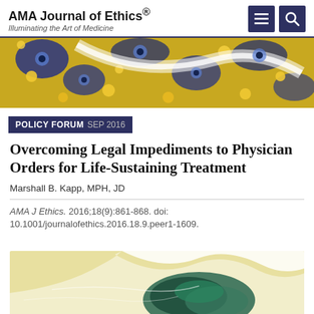AMA Journal of Ethics® — Illuminating the Art of Medicine
[Figure (illustration): Decorative header image with blue and yellow abstract floral/peacock pattern]
POLICY FORUM SEP 2016
Overcoming Legal Impediments to Physician Orders for Life-Sustaining Treatment
Marshall B. Kapp, MPH, JD
AMA J Ethics. 2016;18(9):861-868. doi: 10.1001/journalofethics.2016.18.9.peer1-1609.
[Figure (illustration): Decorative bottom image with light yellow background and ocean wave with dark teal/green earth or rock formation]